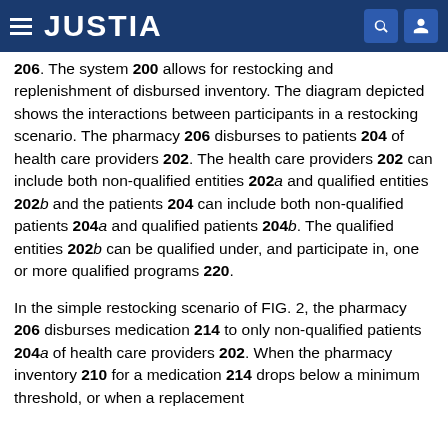JUSTIA
206. The system 200 allows for restocking and replenishment of disbursed inventory. The diagram depicted shows the interactions between participants in a restocking scenario. The pharmacy 206 disburses to patients 204 of health care providers 202. The health care providers 202 can include both non-qualified entities 202a and qualified entities 202b and the patients 204 can include both non-qualified patients 204a and qualified patients 204b. The qualified entities 202b can be qualified under, and participate in, one or more qualified programs 220.
In the simple restocking scenario of FIG. 2, the pharmacy 206 disburses medication 214 to only non-qualified patients 204a of health care providers 202. When the pharmacy inventory 210 for a medication 214 drops below a minimum threshold, or when a replacement